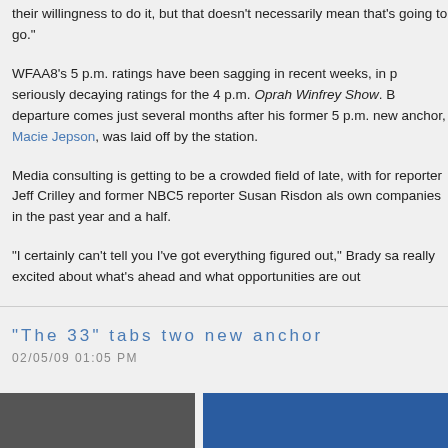their willingness to do it, but that doesn't necessarily mean that's going to go."
WFAA8's 5 p.m. ratings have been sagging in recent weeks, in p seriously decaying ratings for the 4 p.m. Oprah Winfrey Show. B departure comes just several months after his former 5 p.m. new anchor, Macie Jepson, was laid off by the station.
Media consulting is getting to be a crowded field of late, with for reporter Jeff Crilley and former NBC5 reporter Susan Risdon als own companies in the past year and a half.
"I certainly can't tell you I've got everything figured out," Brady sa really excited about what's ahead and what opportunities are out
"The 33" tabs two new anchor
02/05/09 01:05 PM
[Figure (photo): Two image thumbnails at the bottom of the page - a dark/gray image on the left and a blue image on the right]